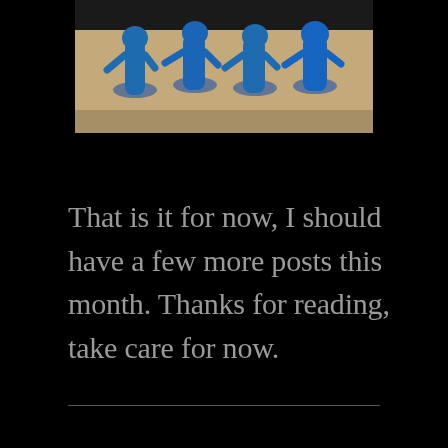[Figure (photo): Blue plastic miniature figurines (game pieces or toy soldiers) arranged on a tan/brown surface, photographed from a low angle. The figurines appear to be sculpted human figures in various poses, all in bright blue color.]
That is it for now, I should have a few more posts this month. Thanks for reading, take care for now.